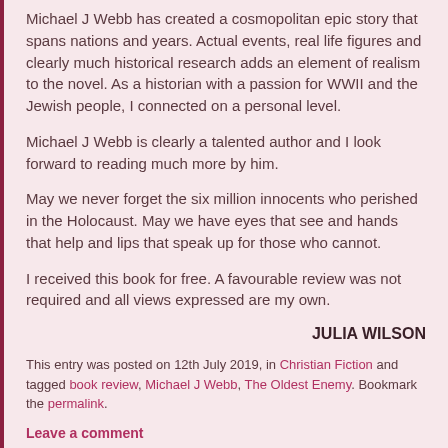Michael J Webb has created a cosmopolitan epic story that spans nations and years. Actual events, real life figures and clearly much historical research adds an element of realism to the novel. As a historian with a passion for WWII and the Jewish people, I connected on a personal level.
Michael J Webb is clearly a talented author and I look forward to reading much more by him.
May we never forget the six million innocents who perished in the Holocaust. May we have eyes that see and hands that help and lips that speak up for those who cannot.
I received this book for free. A favourable review was not required and all views expressed are my own.
JULIA WILSON
This entry was posted on 12th July 2019, in Christian Fiction and tagged book review, Michael J Webb, The Oldest Enemy. Bookmark the permalink.
Leave a comment